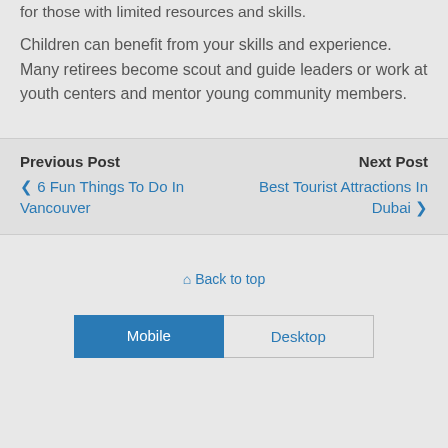for those with limited resources and skills.
Children can benefit from your skills and experience. Many retirees become scout and guide leaders or work at youth centers and mentor young community members.
Previous Post
‹ 6 Fun Things To Do In Vancouver
Next Post
Best Tourist Attractions In Dubai ›
⌂ Back to top
Mobile | Desktop